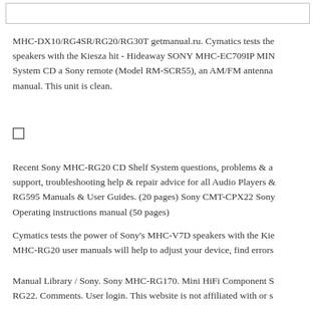[Figure (other): Empty input/search bar at the top of the page]
MHC-DX10/RG4SR/RG20/RG30T getmanual.ru. Cymatics tests the speakers with the Kiesza hit - Hideaway SONY MHC-EC709IP MINI System CD a Sony remote (Model RM-SCR55), an AM/FM antenna manual. This unit is clean.
[Figure (other): Small empty checkbox square]
Recent Sony MHC-RG20 CD Shelf System questions, problems & a support, troubleshooting help & repair advice for all Audio Players & RG595 Manuals & User Guides. (20 pages) Sony CMT-CPX22 Sony Operating instructions manual (50 pages)
Cymatics tests the power of Sony's MHC-V7D speakers with the Kie MHC-RG20 user manuals will help to adjust your device, find errors
Manual Library / Sony. Sony MHC-RG170. Mini HiFi Component S RG22. Comments. User login. This website is not affiliated with or s the Sony MHC-R550 before you had it working. Download M...